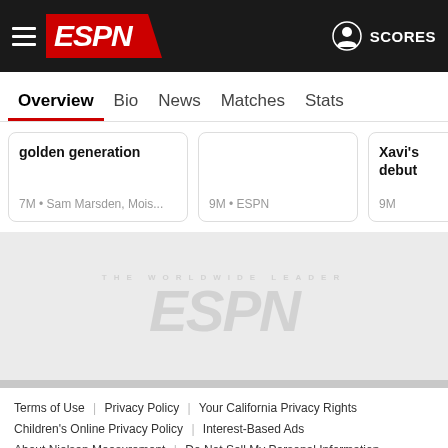ESPN — Overview | Bio | News | Matches | Stats
golden generation
7M • Sam Marsden, Mois...
9M • ESPN
Xavi's debut
9M
[Figure (logo): Faded ESPN logo watermark in grey area]
Terms of Use | Privacy Policy | Your California Privacy Rights | Children's Online Privacy Policy | Interest-Based Ads | About Nielsen Measurement | Do Not Sell My Personal Information | Contact Us | Disney Ad Sales Site | Work for ESPN
Copyright: © ESPN Enterprises, Inc. All rights reserved.